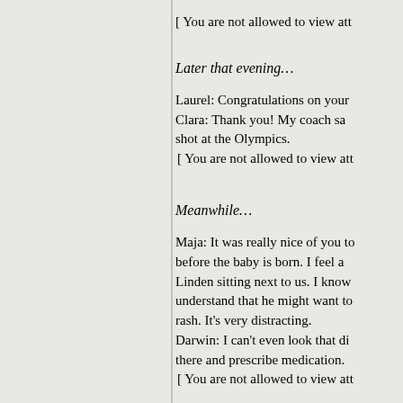[ You are not allowed to view att
Later that evening…
Laurel:  Congratulations on your
Clara:  Thank you!  My coach sa shot at the Olympics.
[ You are not allowed to view att
Meanwhile…
Maja:  It was really nice of you to before the baby is born.  I feel a Linden sitting next to us.  I know understand that he might want to rash.  It's very distracting.
Darwin:  I can't even look that di there and prescribe medication.
[ You are not allowed to view att